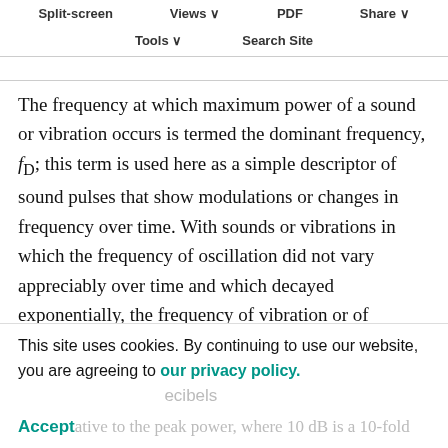Split-screen  Views  PDF  Share  Tools  Search Site
The frequency at which maximum power of a sound or vibration occurs is termed the dominant frequency, f_D; this term is used here as a simple descriptor of sound pulses that show modulations or changes in frequency over time. With sounds or vibrations in which the frequency of oscillation did not vary appreciably over time and which decayed exponentially, the frequency of vibration or of maximum amplitude of vibration is termed the resonant frequency, f_o.
This site uses cookies. By continuing to use our website, you are agreeing to our privacy policy. Accept